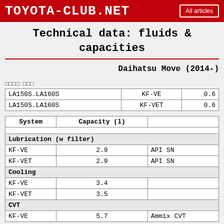TOYOTA-CLUB.NET   All articles
Technical data: fluids & capacities
Daihatsu Move (2014-)
□□□□ □□□
|  |  |  |
| --- | --- | --- |
| LA150S.LA160S | KF-VE | 0.6 |
| LA150S.LA160S | KF-VET | 0.6 |
| System | Capacity (l) |  |
| --- | --- | --- |
| Lubrication (w filter) |  |  |
| KF-VE | 2.9 | API SN |
| KF-VET | 2.9 | API SN |
| Cooling |  |  |
| KF-VE | 3.4 |  |
| KF-VET | 3.5 |  |
| CVT |  |  |
| KF-VE | 5.7 | Ammix CVT |